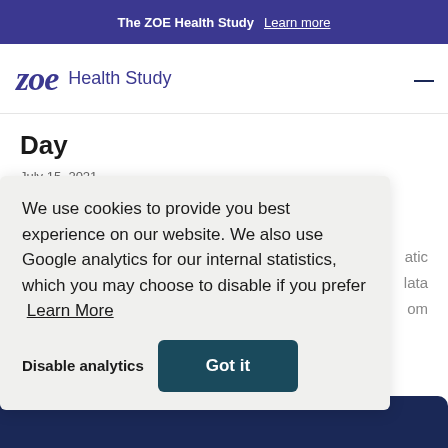The ZOE Health Study   Learn more
ZOE Health Study
Day
July 15, 2021
According to ZOE COVID Study incidence figures, it is estimated that among unvaccinated people in the ...atic ...lata ...om
We use cookies to provide you best experience on our website. We also use Google analytics for our internal statistics, which you may choose to disable if you prefer  Learn More
Disable analytics
Got it